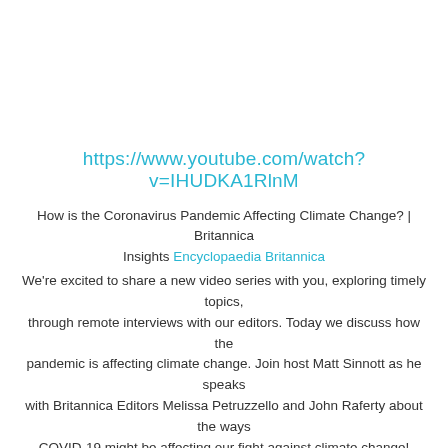https://www.youtube.com/watch?v=IHUDKA1RlnM
How is the Coronavirus Pandemic Affecting Climate Change? | Britannica Insights Encyclopaedia Britannica
We’re excited to share a new video series with you, exploring timely topics, through remote interviews with our editors. Today we discuss how the pandemic is affecting climate change. Join host Matt Sinnott as he speaks with Britannica Editors Melissa Petruzzello and John Raferty about the ways COVID-19 might be affecting our fight against climate change!